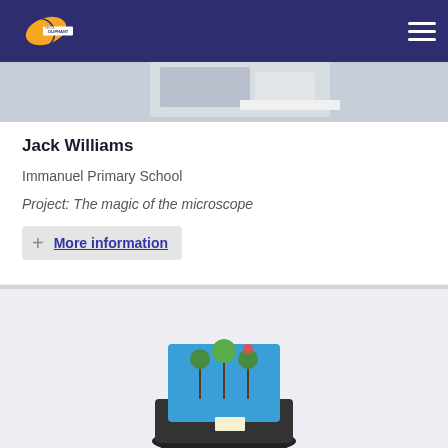Santa Oliphant [logo] navigation
[Figure (photo): Partial photo of a science project at top of card]
Jack Williams
Immanuel Primary School
Project: The magic of the microscope
+ More information
[Figure (photo): Photo of a plant science project in a black pot with blue background display board]